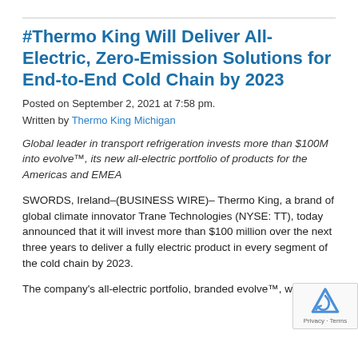#Thermo King Will Deliver All-Electric, Zero-Emission Solutions for End-to-End Cold Chain by 2023
Posted on September 2, 2021 at 7:58 pm.
Written by Thermo King Michigan
Global leader in transport refrigeration invests more than $100M into evolve™, its new all-electric portfolio of products for the Americas and EMEA
SWORDS, Ireland–(BUSINESS WIRE)– Thermo King, a brand of global climate innovator Trane Technologies (NYSE: TT), today announced that it will invest more than $100 million over the next three years to deliver a fully electric product in every segment of the cold chain by 2023.
The company's all-electric portfolio, branded evolve™, will